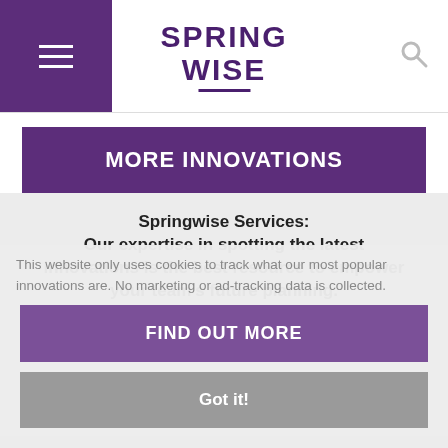SPRINGWISE (logo with hamburger menu and search icon)
MORE INNOVATIONS
Springwise Services: Our expertise in spotting the latest innovations is the best resource to empower your team's future planning.
This website only uses cookies to track what our most popular innovations are. No marketing or ad-tracking data is collected.
FIND OUT MORE
Got it!
SPRING